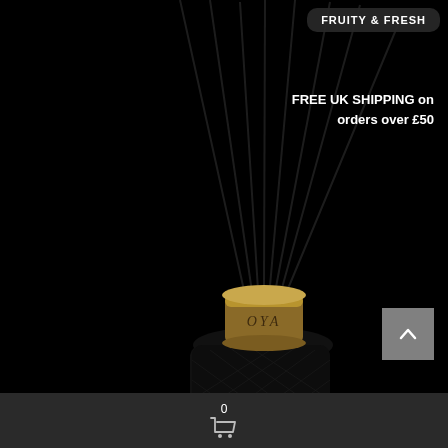[Figure (photo): OYA brand luxury reed diffuser with matte black textured bottle, gold collar/cap, and multiple black reeds fanning upward, on a black background]
FRUITY & FRESH
FREE UK SHIPPING on orders over £50
0